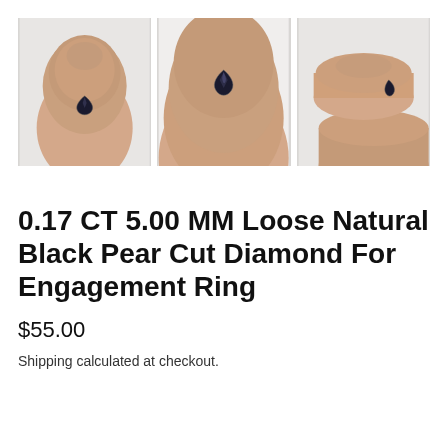[Figure (photo): Three product photos of a small black pear cut diamond held on a fingertip, shown from different angles against a white/light background.]
0.17 CT 5.00 MM Loose Natural Black Pear Cut Diamond For Engagement Ring
$55.00
Shipping calculated at checkout.